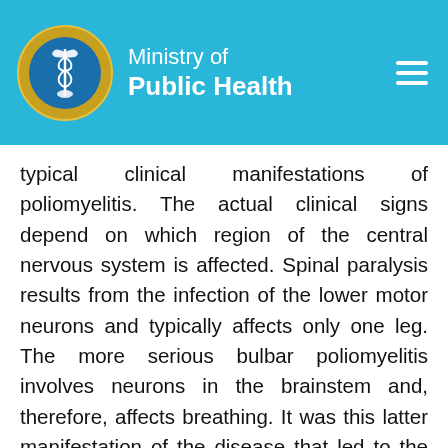Ministry of Public Health
typical clinical manifestations of poliomyelitis. The actual clinical signs depend on which region of the central nervous system is affected. Spinal paralysis results from the infection of the lower motor neurons and typically affects only one leg. The more serious bulbar poliomyelitis involves neurons in the brainstem and, therefore, affects breathing. It was this latter manifestation of the disease that led to the development of the iron lung as an artificial respirator during the 1950s. Encephalitis results from the infection of the brain itself; it makes up <1% of all cases and is